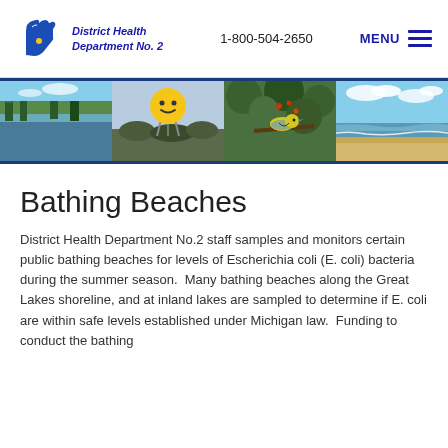District Health Department No. 2 | 1-800-504-2650 | MENU
[Figure (photo): Banner with four photos: a river/lake with trees, a yellow smiley-face water tower, a bird (Kirtland's warbler) on a branch, and a sandy beach shoreline]
Bathing Beaches
District Health Department No.2 staff samples and monitors certain public bathing beaches for levels of Escherichia coli (E. coli) bacteria during the summer season.  Many bathing beaches along the Great Lakes shoreline, and at inland lakes are sampled to determine if E. coli are within safe levels established under Michigan law.  Funding to conduct the bathing